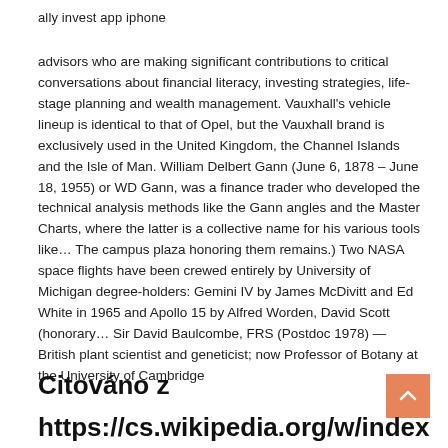ally invest app iphone
advisors who are making significant contributions to critical conversations about financial literacy, investing strategies, life-stage planning and wealth management. Vauxhall's vehicle lineup is identical to that of Opel, but the Vauxhall brand is exclusively used in the United Kingdom, the Channel Islands and the Isle of Man. William Delbert Gann (June 6, 1878 – June 18, 1955) or WD Gann, was a finance trader who developed the technical analysis methods like the Gann angles and the Master Charts, where the latter is a collective name for his various tools like… The campus plaza honoring them remains.) Two NASA space flights have been crewed entirely by University of Michigan degree-holders: Gemini IV by James McDivitt and Ed White in 1965 and Apollo 15 by Alfred Worden, David Scott (honorary… Sir David Baulcombe, FRS (Postdoc 1978) — British plant scientist and geneticist; now Professor of Botany at the University of Cambridge
Citováno z
https://cs.wikipedia.org/w/index